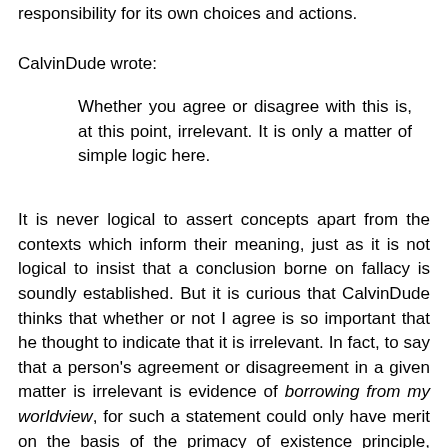responsibility for its own choices and actions.
CalvinDude wrote:
Whether you agree or disagree with this is, at this point, irrelevant. It is only a matter of simple logic here.
It is never logical to assert concepts apart from the contexts which inform their meaning, just as it is not logical to insist that a conclusion borne on fallacy is soundly established. But it is curious that CalvinDude thinks that whether or not I agree is so important that he thought to indicate that it is irrelevant. In fact, to say that a person's agreement or disagreement in a given matter is irrelevant is evidence of borrowing from my worldview, for such a statement could only have merit on the basis of the primacy of existence principle, which is the recognition that states of affairs obtain independent of conscious activity (such as agreeing or disagreeing). Thus CalvinDude finds that he needs to abandon his own worldview's metaphysics in order to defend it, which instances an insuperable tension between his